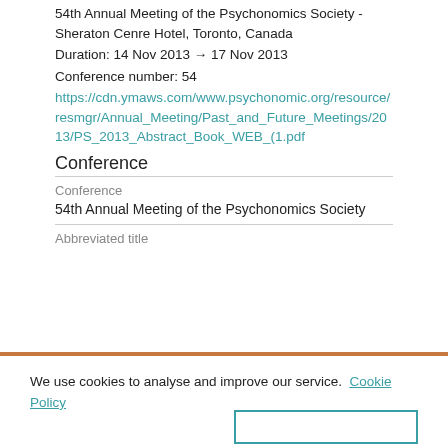54th Annual Meeting of the Psychonomics Society - Sheraton Cenre Hotel, Toronto, Canada
Duration: 14 Nov 2013 → 17 Nov 2013
Conference number: 54
https://cdn.ymaws.com/www.psychonomic.org/resource/resmgr/Annual_Meeting/Past_and_Future_Meetings/2013/PS_2013_Abstract_Book_WEB_(1.pdf
Conference
Conference
54th Annual Meeting of the Psychonomics Society
Abbreviated title
We use cookies to analyse and improve our service. Cookie Policy